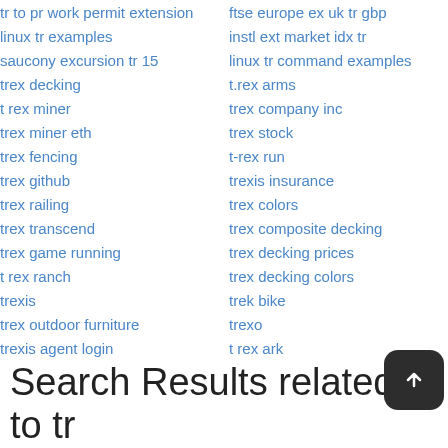tr to pr work permit extension
linux tr examples
saucony excursion tr 15
trex decking
t rex miner
trex miner eth
trex fencing
trex github
trex railing
trex transcend
trex game running
t rex ranch
trexis
trex outdoor furniture
trexis agent login
ftse europe ex uk tr gbp
instl ext market idx tr
linux tr command examples
t.rex arms
trex company inc
trex stock
t-rex run
trexis insurance
trex colors
trex composite decking
trex decking prices
trex decking colors
trek bike
trexo
t rex ark
Search Results related to tr